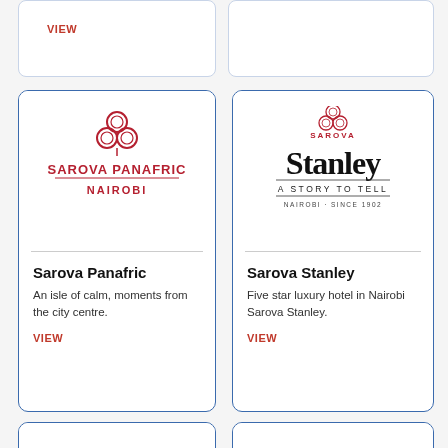VIEW
[Figure (logo): Sarova Panafric Nairobi logo with decorative floral emblem in red and serif text]
Sarova Panafric
An isle of calm, moments from the city centre.
VIEW
[Figure (logo): Sarova Stanley logo with gothic serif font, 'A Story to Tell' tagline, Nairobi Since 1902]
Sarova Stanley
Five star luxury hotel in Nairobi Sarova Stanley.
VIEW